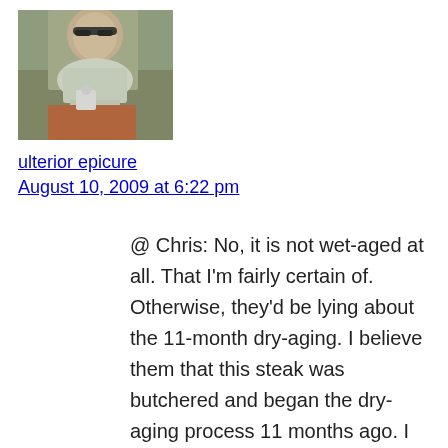[Figure (photo): Profile photo of a man wearing sunglasses outdoors, appearing to pour or prepare something at a table with a red tray and cup]
ulterior epicure
August 10, 2009 at 6:22 pm
@ Chris: No, it is not wet-aged at all. That I'm fairly certain of. Otherwise, they'd be lying about the 11-month dry-aging. I believe them that this steak was butchered and began the dry-aging process 11 months ago. I just think there are some essential pieces to the story missing. I know